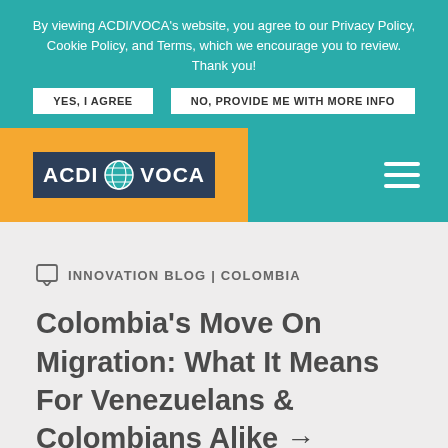By viewing ACDI/VOCA's website, you agree to our Privacy Policy, Cookie Policy, and Terms, which we encourage you to review. Thank you!
YES, I AGREE
NO, PROVIDE ME WITH MORE INFO
[Figure (logo): ACDI/VOCA logo with globe icon on dark blue background, on orange header background]
INNOVATION BLOG | COLOMBIA
Colombia's Move On Migration: What It Means For Venezuelans & Colombians Alike →